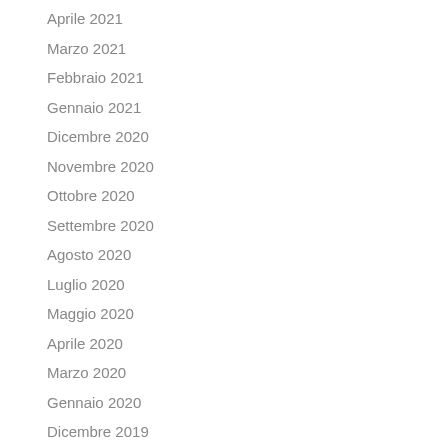Aprile 2021
Marzo 2021
Febbraio 2021
Gennaio 2021
Dicembre 2020
Novembre 2020
Ottobre 2020
Settembre 2020
Agosto 2020
Luglio 2020
Maggio 2020
Aprile 2020
Marzo 2020
Gennaio 2020
Dicembre 2019